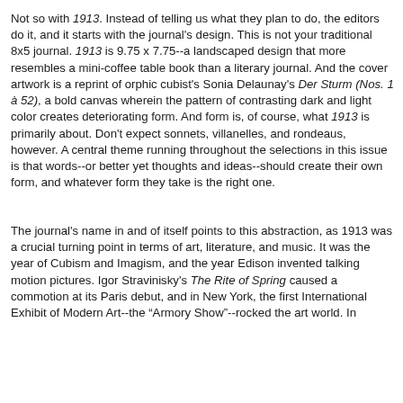Not so with 1913. Instead of telling us what they plan to do, the editors do it, and it starts with the journal's design. This is not your traditional 8x5 journal. 1913 is 9.75 x 7.75--a landscaped design that more resembles a mini-coffee table book than a literary journal. And the cover artwork is a reprint of orphic cubist's Sonia Delaunay's Der Sturm (Nos. 1 à 52), a bold canvas wherein the pattern of contrasting dark and light color creates deteriorating form. And form is, of course, what 1913 is primarily about. Don't expect sonnets, villanelles, and rondeaus, however. A central theme running throughout the selections in this issue is that words--or better yet thoughts and ideas--should create their own form, and whatever form they take is the right one.
The journal's name in and of itself points to this abstraction, as 1913 was a crucial turning point in terms of art, literature, and music. It was the year of Cubism and Imagism, and the year Edison invented talking motion pictures. Igor Stravinisky's The Rite of Spring caused a commotion at its Paris debut, and in New York, the first International Exhibit of Modern Art--the "Armory Show"--rocked the art world. In